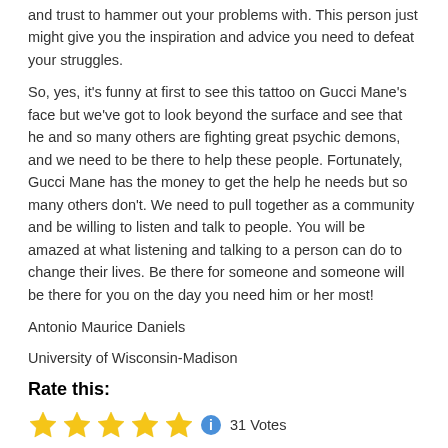and trust to hammer out your problems with. This person just might give you the inspiration and advice you need to defeat your struggles.
So, yes, it’s funny at first to see this tattoo on Gucci Mane’s face but we’ve got to look beyond the surface and see that he and so many others are fighting great psychic demons, and we need to be there to help these people. Fortunately, Gucci Mane has the money to get the help he needs but so many others don’t. We need to pull together as a community and be willing to listen and talk to people. You will be amazed at what listening and talking to a person can do to change their lives. Be there for someone and someone will be there for you on the day you need him or her most!
Antonio Maurice Daniels
University of Wisconsin-Madison
Rate this:
[Figure (other): 5 gold stars rating with info icon and '31 Votes' text]